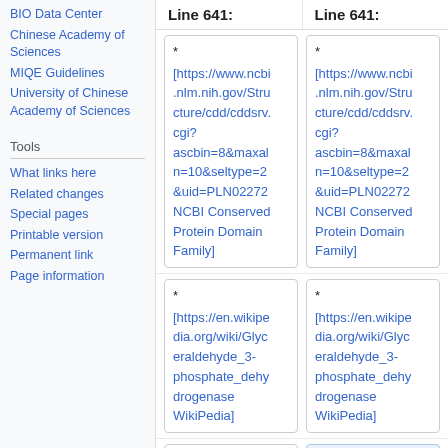BIO Data Center
Chinese Academy of Sciences
MIQE Guidelines
University of Chinese Academy of Sciences
Tools
What links here
Related changes
Special pages
Printable version
Permanent link
Page information
Line 641:
Line 641:
* [https://www.ncbi.nlm.nih.gov/Structure/cdd/cddsrv.cgi?ascbin=8&maxaln=10&seltype=2&uid=PLN02272 NCBI Conserved Protein Domain Family]
* [https://www.ncbi.nlm.nih.gov/Structure/cdd/cddsrv.cgi?ascbin=8&maxaln=10&seltype=2&uid=PLN02272 NCBI Conserved Protein Domain Family]
* [https://en.wikipedia.org/wiki/Glyceraldehyde_3-phosphate_dehydrogenase WikiPedia]
* [https://en.wikipedia.org/wiki/Glyceraldehyde_3-phosphate_dehydrogenase WikiPedia]
* [http://www.obi...